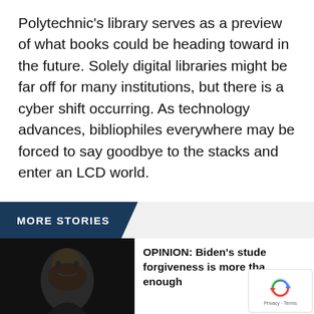Polytechnic's library serves as a preview of what books could be heading toward in the future. Solely digital libraries might be far off for many institutions, but there is a cyber shift occurring. As technology advances, bibliophiles everywhere may be forced to say goodbye to the stacks and enter an LCD world.
Brandon Shaik is a senior majoring in psychology.
MORE STORIES
[Figure (photo): Dark photo of a person (appears to be Biden) from the shoulders up against a dark background]
OPINION: Biden's student forgiveness is more than enough